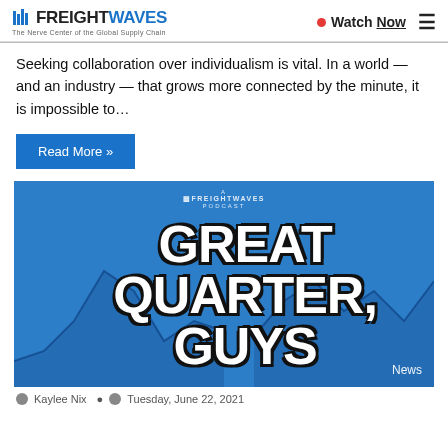FREIGHTWAVES — The Nerve Center of the Global Supply Chain | Watch Now
Seeking collaboration over individualism is vital. In a world — and an industry — that grows more connected by the minute, it is impossible to…
Read More »
[Figure (photo): A FreightWaves Podcast promotional image with blue background, chart line graphics, and large bold text reading 'GREAT QUARTER, GUYS' with a 'News' badge in the bottom right.]
Kaylee Nix · Tuesday, June 22, 2021